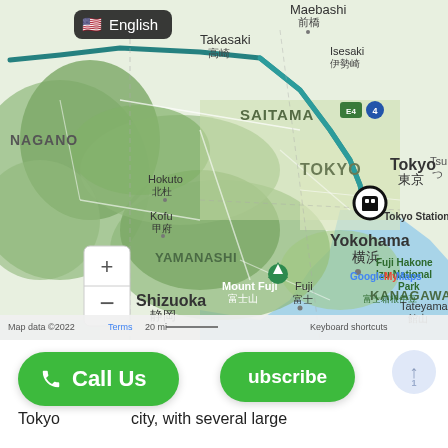[Figure (map): Google Maps screenshot showing central Japan region including Tokyo, Nagano, Yamanashi, Saitama, Kanagawa prefectures. A teal route line runs from Matsumoto/Nagano area through Takasaki, Isesaki, and down to Tokyo Station (marked with a transit icon). Visible labels include Maebashi, 前橋, Takasaki, 高崎, Isesaki, 伊勢崎, NAGANO, SAITAMA, TOKYO, YAMANASHI, KANAGAWA, Hokuto, 北杜, Kofu, 甲府, Mount Fuji, 富士山, Fuji, 富士, Shizuoka, 静岡, Yokohama, 横浜, Tokyo, 東京, Tokyo Station, Fuji Hakone Izu National Park, 富士箱根伊豆, Tateyama, 館山, E4, 4 highway shields, Google My Maps watermark, Map data ©2022, Terms, 20 mi scale bar, Keyboard shortcuts, zoom +/- controls]
Call Us
ubscribe
Tokyo ... city, with several large